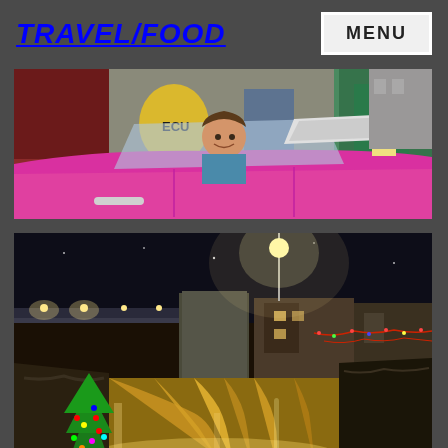TRAVEL/FOOD
MENU
[Figure (photo): Woman sitting in a classic pink convertible car with colorful graffiti in the background, street scene]
[Figure (photo): Night scene of a waterfall illuminated with golden light, Christmas tree with colored lights in foreground, city buildings and street lights in background]